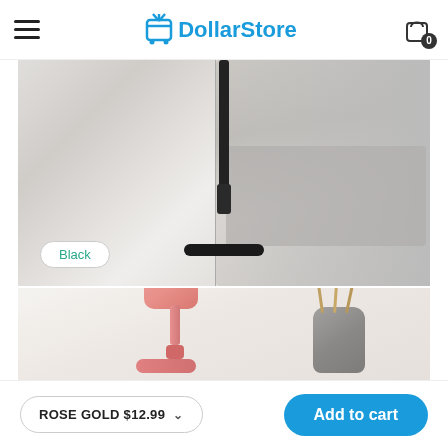DollarStore
[Figure (photo): Black telescopic phone/tablet stand on a white desk surface next to a laptop, with a 'Black' label badge in the lower left]
[Figure (photo): Rose gold/pink phone stand on a white surface next to a decorative glass vase with dried grass stems]
ROSE GOLD $12.99
Add to cart